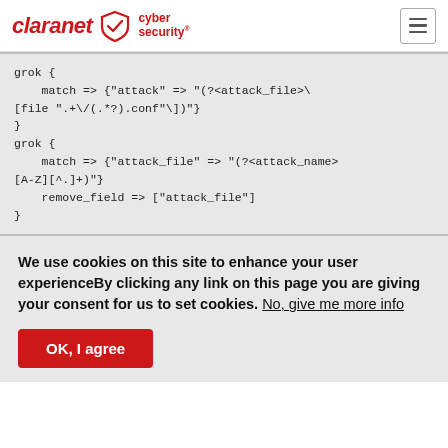claranet cyber security
[Figure (screenshot): Code block showing grok filter configuration with match and remove_field directives]
We use cookies on this site to enhance your user experienceBy clicking any link on this page you are giving your consent for us to set cookies. No, give me more info
OK, I agree